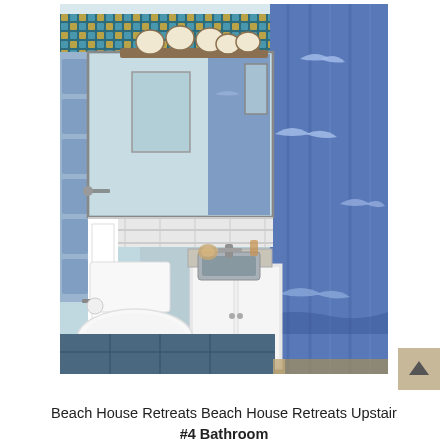[Figure (photo): Interior photo of a beach-themed bathroom with blue seagull shower curtain on the right, decorative tiled border above a mirror, vanity with sink, toilet, blue tile floor, and coastal decor.]
Beach House Retreats Beach House Retreats Upstairs #4 Bathroom